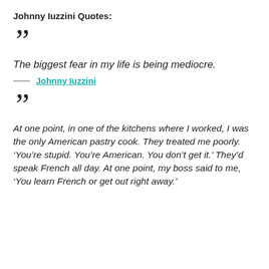Johnny Iuzzini Quotes:
““
The biggest fear in my life is being mediocre.
— Johnny Iuzzini
““
At one point, in one of the kitchens where I worked, I was the only American pastry cook. They treated me poorly. ‘You’re stupid. You’re American. You don’t get it.’ They’d speak French all day. At one point, my boss said to me, ‘You learn French or get out right away.’